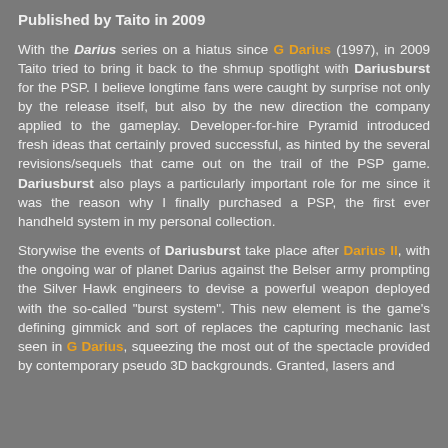Published by Taito in 2009
With the Darius series on a hiatus since G Darius (1997), in 2009 Taito tried to bring it back to the shmup spotlight with Dariusburst for the PSP. I believe longtime fans were caught by surprise not only by the release itself, but also by the new direction the company applied to the gameplay. Developer-for-hire Pyramid introduced fresh ideas that certainly proved successful, as hinted by the several revisions/sequels that came out on the trail of the PSP game. Dariusburst also plays a particularly important role for me since it was the reason why I finally purchased a PSP, the first ever handheld system in my personal collection.
Storywise the events of Dariusburst take place after Darius II, with the ongoing war of planet Darius against the Belser army prompting the Silver Hawk engineers to devise a powerful weapon deployed with the so-called "burst system". This new element is the game's defining gimmick and sort of replaces the capturing mechanic last seen in G Darius, squeezing the most out of the spectacle provided by contemporary pseudo 3D backgrounds. Granted, lasers and